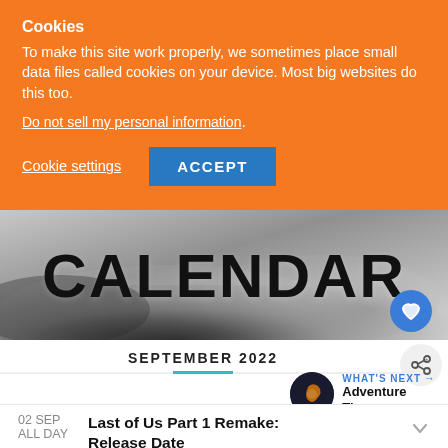Cookies
To make this site work properly, we sometimes place small data files called cookies on your device. Most big websites do this too.
Do not sell my personal information.
Cookie settings   ACCEPT
[Figure (screenshot): Calendar banner image with large bold text 'CALENDAR' over smoky dark background]
SEPTEMBER 2022
WHAT'S NEXT → Adventure Time...
02 SEP  ALL DAY  Last of Us Part 1 Remake: Release Date